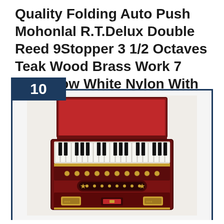Quality Folding Auto Push Mohonlal R.T.Delux Double Reed 9Stopper 3 1/2 Octaves Teak Wood Brass Work 7 Part Blow White Nylon With Padding Bag
[Figure (photo): A dark red/maroon harmonium (Indian keyboard instrument) shown open with lid raised, displaying the keyboard and bellows. The instrument has brass hardware, multiple stops/stoppers, and decorative metal work. It appears to be a folding portable harmonium.]